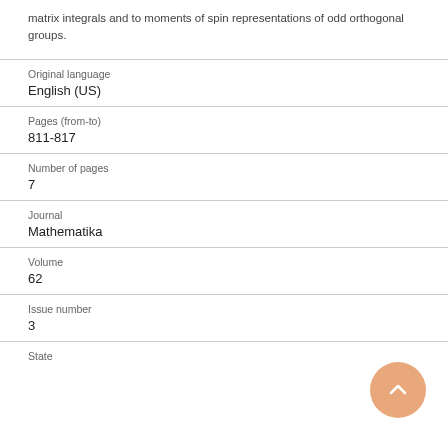matrix integrals and to moments of spin representations of odd orthogonal groups.
| Original language | English (US) |
| Pages (from-to) | 811-817 |
| Number of pages | 7 |
| Journal | Mathematika |
| Volume | 62 |
| Issue number | 3 |
| State |  |